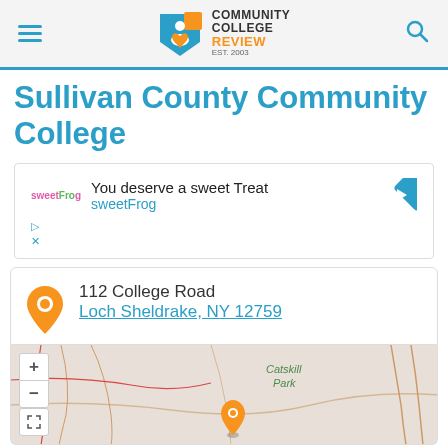[Figure (logo): Community College Review logo with shield icon, EST. 2003]
Sullivan County Community College
[Figure (screenshot): Advertisement for sweetFrog: 'You deserve a sweet Treat sweetFrog' with direction arrow icon]
112 College Road
Loch Sheldrake, NY 12759
[Figure (map): Interactive map showing location of Sullivan County Community College near Catskill Park, Loch Sheldrake, NY 12759, with zoom controls and an orange map pin]